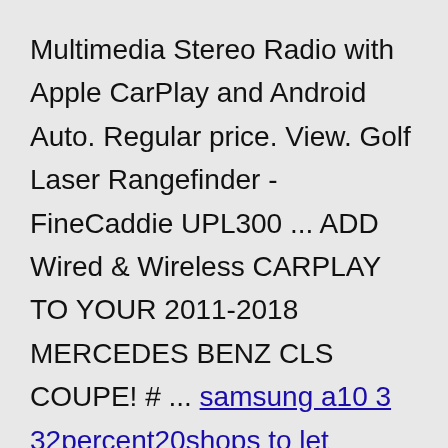Multimedia Stereo Radio with Apple CarPlay and Android Auto. Regular price. View. Golf Laser Rangefinder - FineCaddie UPL300 ... ADD Wired & Wireless CARPLAY TO YOUR 2011-2018 MERCEDES BENZ CLS COUPE! # ... samsung a10 3 32percent20shops to let cumbriaaruba distributed switchcraigslist melbourne florida ost